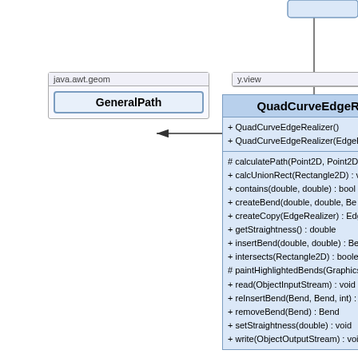[Figure (engineering-diagram): UML class diagram showing GeneralPath class (in java.awt.geom package) with an association arrow pointing to QuadCurveEdgeRealizer class (in y.view package). QuadCurveEdgeRealizer has constructors QuadCurveEdgeRealizer() and QuadCurveEdgeRealizer(EdgeRe...), and methods: calculatePath(Point2D, Point2D...), calcUnionRect(Rectangle2D):v..., contains(double, double):bool..., createBend(double, double, Be...), createCopy(EdgeRealizer):Edg..., getStraightness():double, insertBend(double, double):Be..., intersects(Rectangle2D):boole..., paintHighlightedBends(Graphics...), read(ObjectInputStream):void, reInsertBend(Bend, Bend, int):..., removeBend(Bend):Bend, setStraightness(double):void, write(ObjectOutputStream):voi... There is also an inheritance arrow at the top right indicating a parent class relationship.]